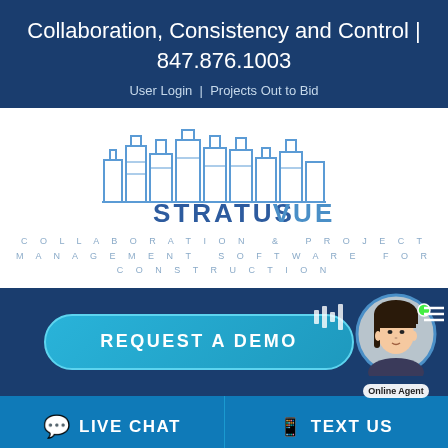Collaboration, Consistency and Control | 847.876.1003
User Login  |  Projects Out to Bid
[Figure (logo): StratusVue logo with building skyline outline in blue lines above the text STRATUSVUE and tagline COLLABORATION & PROJECT MANAGEMENT SOFTWARE FOR CONSTRUCTION]
REQUEST A DEMO
[Figure (photo): Online agent photo of an Asian woman with Online Agent label badge, microphone/audio icon to the left]
LIVE CHAT
TEXT US